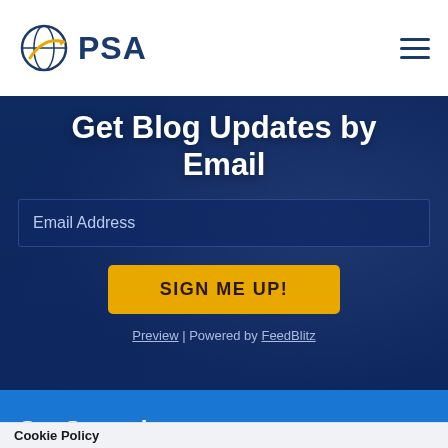[Figure (logo): PSA logo with globe/arrow icon and blue PSA text]
Get Blog Updates by Email
Email Address
SIGN ME UP!
Preview | Powered by FeedBlitz
Get Started
Cookie Policy